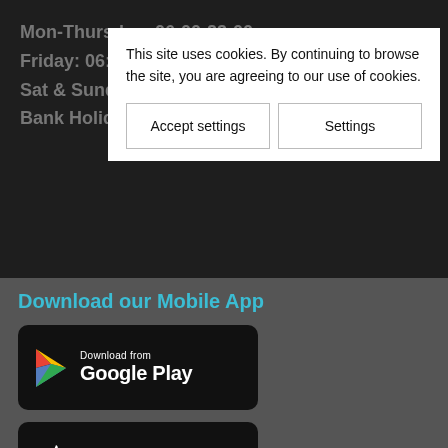Mon-Thursday: 06:00-23:00
Friday: 06:00-23:00
Sat & Sunday: ...
Bank Holiday: ...
This site uses cookies. By continuing to browse the site, you are agreeing to our use of cookies.
Accept settings
Settings
Download our Mobile App
[Figure (logo): Download from Google Play badge — black rounded rectangle with Google Play triangle logo and text 'Download from Google Play']
[Figure (logo): Download on the App Store badge — black rounded rectangle with Apple logo and text 'Download on the App Store']